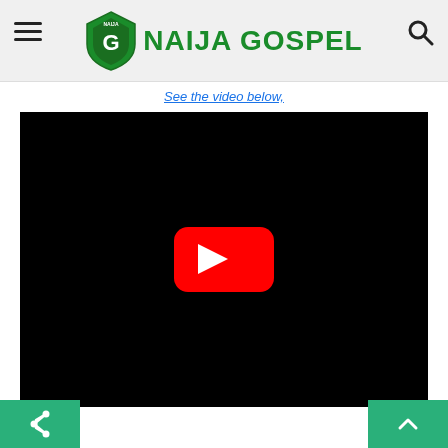NAIJA GOSPEL
See the video below,
[Figure (screenshot): Embedded YouTube video player with black background and red YouTube play button in the center]